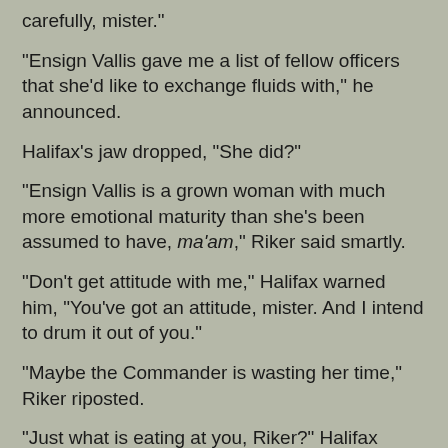carefully, mister."
"Ensign Vallis gave me a list of fellow officers that she'd like to exchange fluids with," he announced.
Halifax's jaw dropped, "She did?"
"Ensign Vallis is a grown woman with much more emotional maturity than she's been assumed to have, ma'am," Riker said smartly.
"Don't get attitude with me," Halifax warned him, "You've got an attitude, mister. And I intend to drum it out of you."
"Maybe the Commander is wasting her time," Riker riposted.
"Just what is eating at you, Riker?" Halifax finally asked. He'd been surprised no one had dared to up until now, "Was it that you were stranded for eight years? Because if it is, boo hoo. Starfleet did what they could and pulled you out of there as soon as they humanly could. That's the hand fate dealt you so suck it up and deal with it."
"I knew Starfleet couldn't reach me for eight years," for the